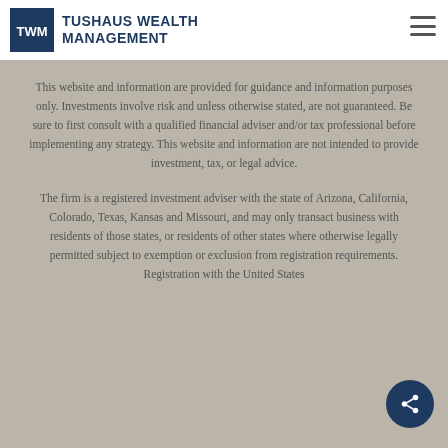[Figure (logo): Tushaus Wealth Management logo with TWM icon and text]
This website and information are provided for guidance and information purposes only. Investments involve risk and unless otherwise stated, are not guaranteed. Be sure to first consult with a qualified financial adviser and/or tax professional before implementing any strategy. This website and information are not intended to provide investment, tax, or legal advice.
The firm is a registered investment adviser with the state of Arizona, California, Colorado, Texas, Kansas and Missouri, and may only transact business with residents of those states, or residents of other states where otherwise legally permitted subject to exemption or exclusion from registration requirements. Registration with the United States